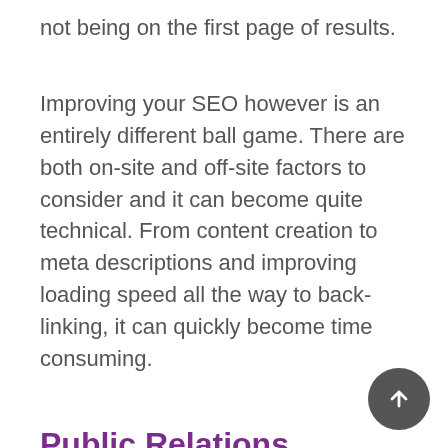not being on the first page of results.
Improving your SEO however is an entirely different ball game. There are both on-site and off-site factors to consider and it can become quite technical. From content creation to meta descriptions and improving loading speed all the way to back-linking, it can quickly become time consuming.
Public Relations
PR is often a hit and miss strategy. Lots of clients have come to us having had bad previous experiences with other agencies. Unfortunately, no matter how good your PR pitch is, if the press isn't